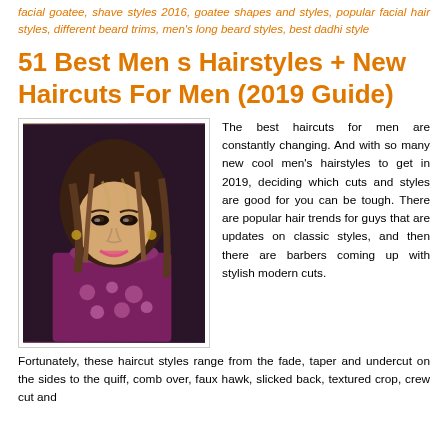facial goatee, shave styles 2016, goatee shapes and styles, popular facial hair styles, different beard trims, men's long beard styles, best dadhi style
51 Best Men s Hairstyles + New Haircuts For Men (2019 Guide)
[Figure (photo): Photo of a woman with long wavy hair, smiling, wearing a floral outfit]
The best haircuts for men are constantly changing. And with so many new cool men's hairstyles to get in 2019, deciding which cuts and styles are good for you can be tough. There are popular hair trends for guys that are updates on classic styles, and then there are barbers coming up with stylish modern cuts. Fortunately, these haircut styles range from the fade, taper and undercut on the sides to the quiff, comb over, faux hawk, slicked back, textured crop, crew cut and